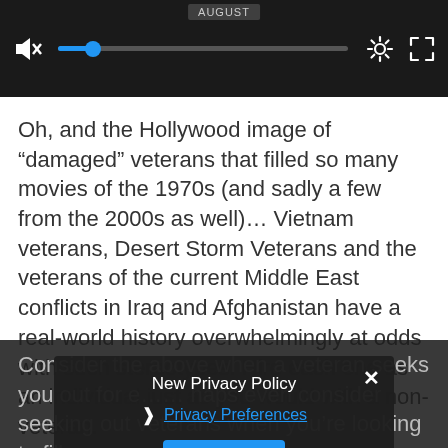[Figure (screenshot): Video player UI with mute icon, blue progress bar with knob at beginning, settings gear icon, and fullscreen icon. AUGUST label visible at top center of video.]
Oh, and the Hollywood image of “damaged” veterans that filled so many movies of the 1970s (and sadly a few from the 2000s as well)… Vietnam veterans, Desert Storm Veterans and the veterans of the current Middle East conflicts in Iraq and Afghanistan have a real-world history overwhelmingly at odds with such stereotypes. Hire each one as an individual just as you would with a non-veteran.
Consider the above when a veteran seeks you out for e…… haps even consider seeking out veterans when you’re looking to fill a ne…
New Privacy Policy
Privacy Preferences
I Agree